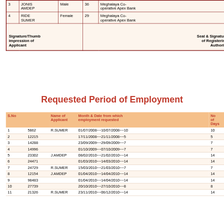|  | Name | Gender | Age | Bank |
| --- | --- | --- | --- | --- |
| 3 | JONIS AMDEP | Male | 36 | Meghalaya Co-operative Apex Bank |
| 4 | RIDE SUMER | Female | 29 | Meghalaya Co-operative Apex Bank |
|  | Signature/Thumb impression of Applicant |  |  | Seal & Signature of Registering Authority |
Requested Period of Employment
| S.No |  | Name of Applicant | Month & Date from which employment requested | No of Days |
| --- | --- | --- | --- | --- |
| 1 | 5862 | R.SUMER | 01/07/2008~~10/07/2008~~10 | 10 |
| 2 | 12215 |  | 17/11/2008~~21/11/2008~~5 | 5 |
| 3 | 14288 |  | 23/09/2009~~29/09/2009~~7 | 7 |
| 4 | 14996 |  | 01/10/2009~~07/10/2009~~7 | 7 |
| 5 | 23302 | J.AMDEP | 08/02/2010~~21/02/2010~~14 | 14 |
| 6 | 24471 |  | 01/03/2010~~14/03/2010~~14 | 14 |
| 7 | 24729 | R.SUMER | 15/03/2010~~21/03/2010~~7 | 7 |
| 8 | 12154 | J.AMDEP | 01/04/2010~~14/04/2010~~14 | 14 |
| 9 | 98483 |  | 01/04/2010~~14/04/2010~~14 | 14 |
| 10 | 27739 |  | 20/10/2010~~27/10/2010~~8 | 8 |
| 11 | 21326 | R.SUMER | 23/11/2010~~06/12/2010~~14 | 14 |